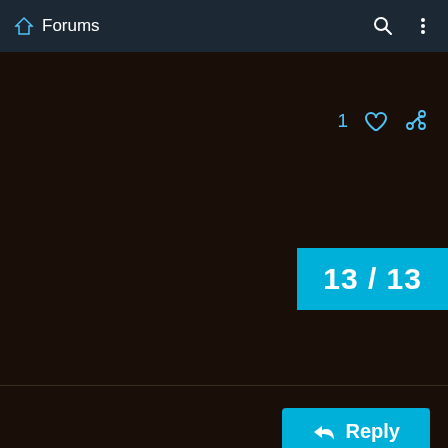Forums
1 ♡ 🔗
13 / 13
↩ Reply
Suggested Topics
[LF A/H-RP] Searching for a Warlock an... Moon Guard 1 9d
[A][PvE-Casual] <real and true> Casual ... 0